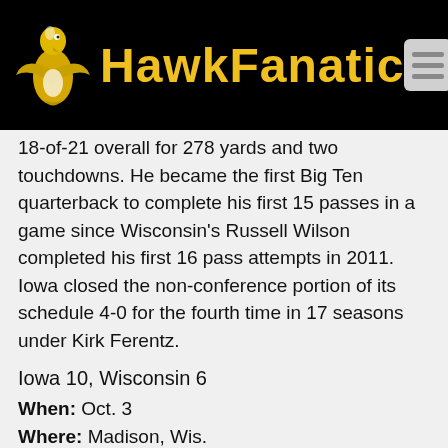HawkFanatic
18-of-21 overall for 278 yards and two touchdowns. He became the first Big Ten quarterback to complete his first 15 passes in a game since Wisconsin's Russell Wilson completed his first 16 pass attempts in 2011. Iowa closed the non-conference portion of its schedule 4-0 for the fourth time in 17 seasons under Kirk Ferentz.
Iowa 10, Wisconsin 6
When: Oct. 3
Where: Madison, Wis.
Summary: The Iowa defense played the starring role, holding the Badgers without a touchdown and to just 86 rushing yards on 34 attempts. All but three of the points scored in the game came following turnovers.